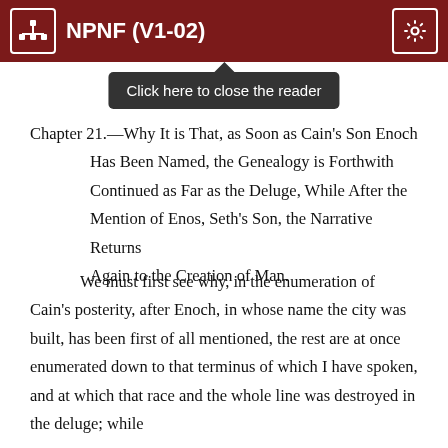NPNF (V1-02)
Chapter 21.—Why It is That, as Soon as Cain's Son Enoch Has Been Named, the Genealogy is Forthwith Continued as Far as the Deluge, While After the Mention of Enos, Seth's Son, the Narrative Returns Again to the Creation of Man.
We must first see why, in the enumeration of Cain's posterity, after Enoch, in whose name the city was built, has been first of all mentioned, the rest are at once enumerated down to that terminus of which I have spoken, and at which that race and the whole line was destroyed in the deluge; while